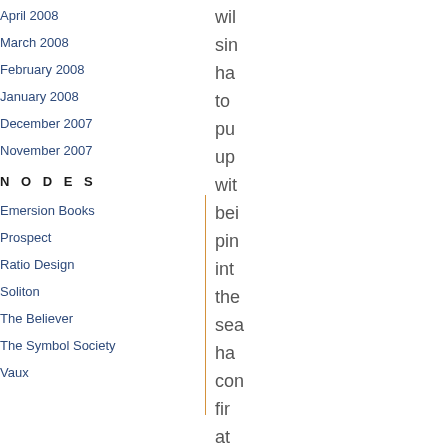April 2008
March 2008
February 2008
January 2008
December 2007
November 2007
N O D E S
Emersion Books
Prospect
Ratio Design
Soliton
The Believer
The Symbol Society
Vaux
wil
sin
ha
to
pu
up
wit
bei
pin
int
the
sea
ha
con
fir
at
the
for
the